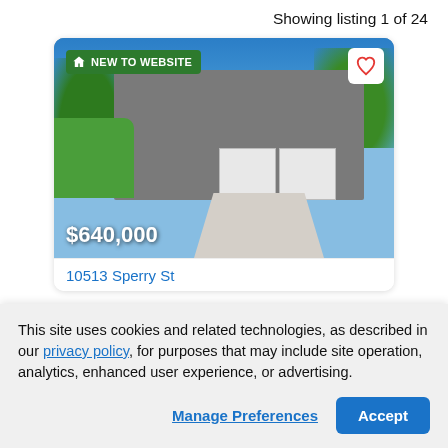Showing listing 1 of 24
[Figure (photo): Exterior photo of a two-story modern house with gray siding, two-car garage, red front door, green lawn, and trees, under a blue sky. Price label '$640,000' overlaid at bottom left. 'NEW TO WEBSITE' badge at top left. Favorite heart button at top right.]
10513 Sperry St
This site uses cookies and related technologies, as described in our privacy policy, for purposes that may include site operation, analytics, enhanced user experience, or advertising.
Manage Preferences
Accept